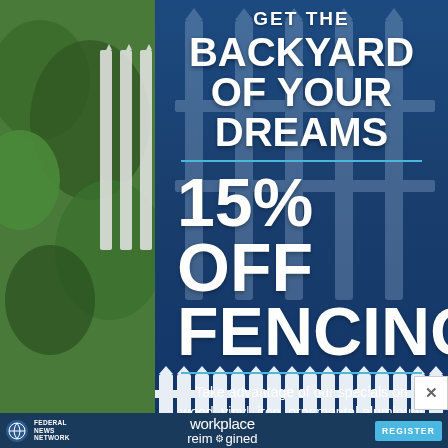[Figure (illustration): Fencing advertisement banner. Dark blue overlay on backyard fence photo background. Text: 'GET THE BACKYARD OF YOUR DREAMS', '15% OFF FENCING', subtext about wood, vinyl, iron, ornamental aluminum and chain link fencing. White picket fence at bottom.]
GET THE BACKYARD OF YOUR DREAMS
15% OFF FENCING
Take advantage of our specials on wood, vinyl, iron, ornamental aluminum and chain link fencing.
[Figure (logo): Federal News Network logo with workplace reimagined text and REGISTER button]
Federal News Network
workplace reimagined
REGISTER